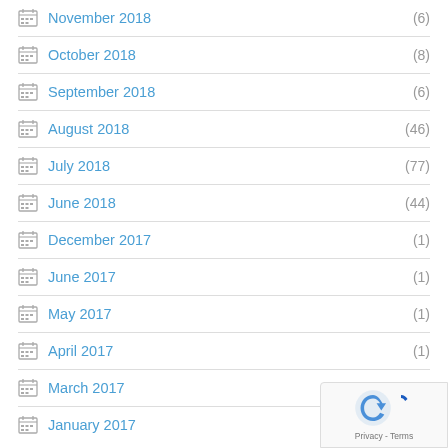November 2018 (6)
October 2018 (8)
September 2018 (6)
August 2018 (46)
July 2018 (77)
June 2018 (44)
December 2017 (1)
June 2017 (1)
May 2017 (1)
April 2017 (1)
March 2017
January 2017
[Figure (logo): reCAPTCHA Privacy - Terms badge]